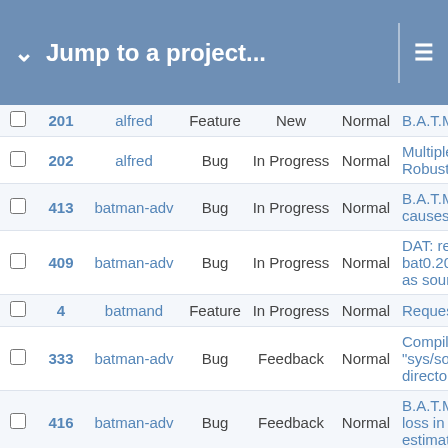Jump to a project...
|  | # | Project | Type | Status | Priority | Subject |
| --- | --- | --- | --- | --- | --- | --- |
|  | 201 | alfred | Feature | New | Normal | B.A.T.M.A.N... |
|  | 202 | alfred | Bug | In Progress | Normal | Multiple Ma... Robustness... |
|  | 413 | batman-adv | Bug | In Progress | Normal | B.A.T.M.A.N... causes orig... |
|  | 409 | batman-adv | Bug | In Progress | Normal | DAT: receiv... bat0.20/eth0... as source a... |
|  | 4 | batmand | Feature | In Progress | Normal | Request: Su... |
|  | 333 | batman-adv | Bug | Feedback | Normal | Compiling 4... "sys/socket....directory" |
|  | 416 | batman-adv | Bug | Feedback | Normal | B.A.T.M.A.N... loss in link t... estimation |
|  | 405 | batman-adv | Bug | Feedback | Low | No bat0 "tu... reassoc - us... AP-STA set... ad-hoc or m... |
|  | 360 | batman-adv | Bug | Feedback | Normal | Batman-adv... |